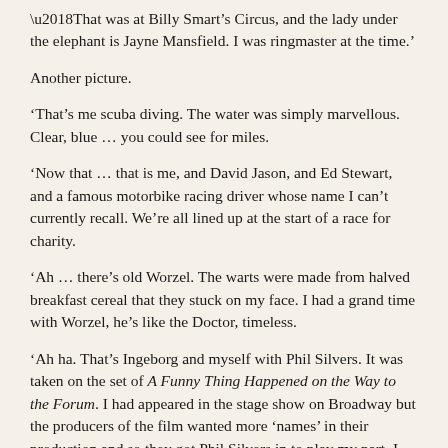‘That was at Billy Smart’s Circus, and the lady under the elephant is Jayne Mansfield. I was ringmaster at the time.’
Another picture.
‘That’s me scuba diving. The water was simply marvellous. Clear, blue … you could see for miles.
‘Now that … that is me, and David Jason, and Ed Stewart, and a famous motorbike racing driver whose name I can’t currently recall. We’re all lined up at the start of a race for charity.
‘Ah … there’s old Worzel. The warts were made from halved breakfast cereal that they stuck on my face. I had a grand time with Worzel, he’s like the Doctor, timeless.
‘Ah ha. That’s Ingeborg and myself with Phil Silvers. It was taken on the set of A Funny Thing Happened on the Way to the Forum. I had appeared in the stage show on Broadway but the producers of the film wanted more ‘names’ in their production and so they got Phil Silvers in to play my part. I was given the part of a sea captain